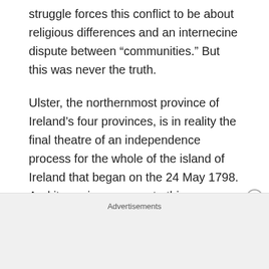struggle forces this conflict to be about religious differences and an internecine dispute between “communities.” But this was never the truth.
Ulster, the northernmost province of Ireland’s four provinces, is in reality the final theatre of an independence process for the whole of the island of Ireland that began on the 24 May 1798. And it was in response to this now active will on the part of the Irish people that the British government started to favour and support the early Orange
Advertisements